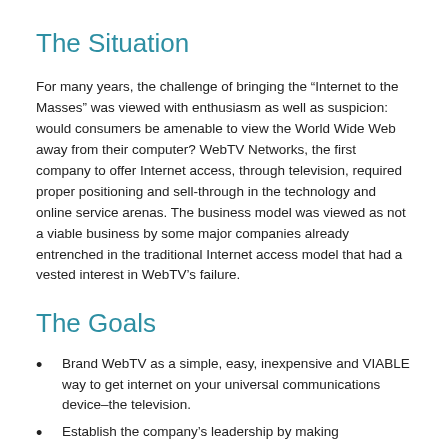The Situation
For many years, the challenge of bringing the “Internet to the Masses” was viewed with enthusiasm as well as suspicion: would consumers be amenable to view the World Wide Web away from their computer? WebTV Networks, the first company to offer Internet access, through television, required proper positioning and sell-through in the technology and online service arenas. The business model was viewed as not a viable business by some major companies already entrenched in the traditional Internet access model that had a vested interest in WebTV’s failure.
The Goals
Brand WebTV as a simple, easy, inexpensive and VIABLE way to get internet on your universal communications device–the television.
Establish the company’s leadership by making